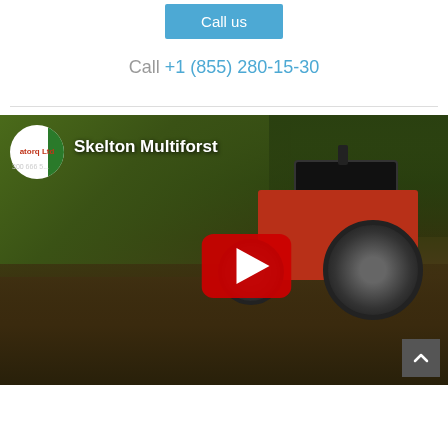Call us
Call +1 (855) 280-15-30
[Figure (screenshot): YouTube video thumbnail showing a red tractor (Case IH) working in a field/hedgerow. Channel icon shows 'atorq Ltd' logo. Video title reads 'Skelton Multiforst'. A red YouTube play button is centered on the thumbnail. A scroll-to-top button appears in the bottom-right corner.]